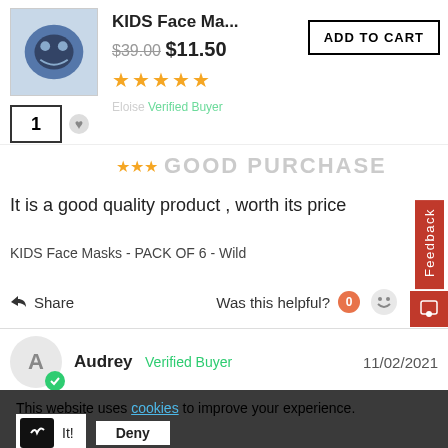[Figure (photo): Product image of KIDS Face Mask with wild animal print]
KIDS Face Ma...
$39.00 $11.50
★★★★★
ADD TO CART
Eloise Verified Buyer
1
GOOD PURCHASE
It is a good quality product , worth its price
KIDS Face Masks - PACK OF 6 - Wild
Share
Was this helpful? 0
Audrey Verified Buyer 11/02/2021
This website uses cookies to improve your experience.
It! Deny